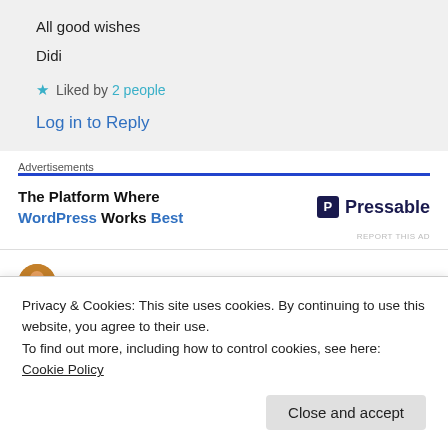All good wishes
Didi
★ Liked by 2 people
Log in to Reply
Advertisements
[Figure (other): Pressable advertisement: 'The Platform Where WordPress Works Best' with Pressable logo]
REPORT THIS AD
Ganesh on 09/03/2019 at 00:31
Privacy & Cookies: This site uses cookies. By continuing to use this website, you agree to their use.
To find out more, including how to control cookies, see here: Cookie Policy
Close and accept
Ocean . 😊